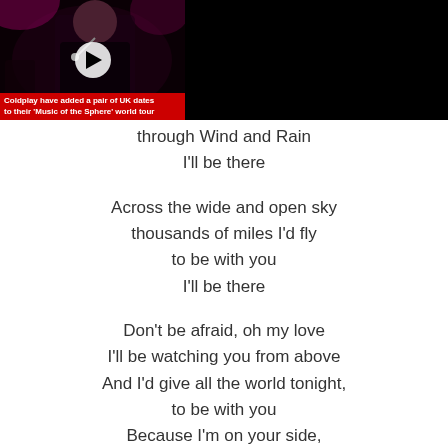[Figure (screenshot): Video advertisement banner for a news article: 'Coldplay extend Music of the Spheres world tour until 2023'. Shows a performer on stage with a play button overlay, a red caption bar reading 'Coldplay have added a pair of UK dates to their Music of the Sphere world tour', a red channel icon with '2', and a close (X) button.]
through Wind and Rain
I'll be there

Across the wide and open sky
thousands of miles I'd fly
to be with you
I'll be there

Don't be afraid, oh my love
I'll be watching you from above
And I'd give all the world tonight,
to be with you
Because I'm on your side,
And I still care
I may have died,
but I've gone nowhere